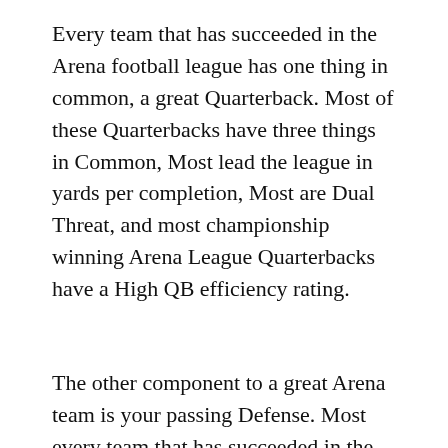Every team that has succeeded in the Arena football league has one thing in common, a great Quarterback. Most of these Quarterbacks have three things in Common, Most lead the league in yards per completion, Most are Dual Threat, and most championship winning Arena League Quarterbacks have a High QB efficiency rating.
The other component to a great Arena team is your passing Defense. Most every team that has succeeded in the Arena league has a top 3 passing defense in the league. It's a perfect benchmark for understanding how good an